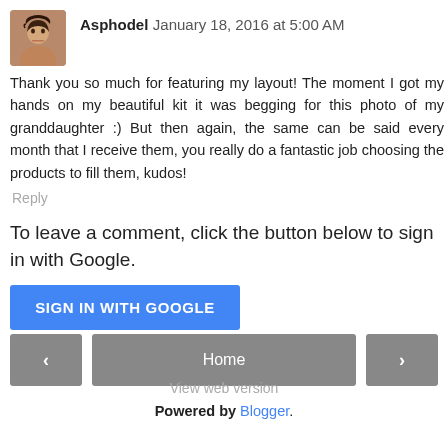Asphodel  January 18, 2016 at 5:00 AM
Thank you so much for featuring my layout! The moment I got my hands on my beautiful kit it was begging for this photo of my granddaughter :) But then again, the same can be said every month that I receive them, you really do a fantastic job choosing the products to fill them, kudos!
Reply
To leave a comment, click the button below to sign in with Google.
SIGN IN WITH GOOGLE
Home
View web version
Powered by Blogger.